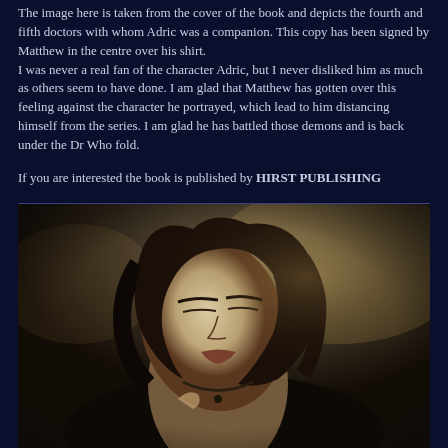The image here is taken from the cover of the book and depicts the fourth and fifth doctors with whom Adric was a companion. This copy has been signed by Matthew in the centre over his shirt.
I was never a real fan of the character Adric, but I never disliked him as much as others seem to have done. I am glad that Matthew has gotten over this feeling against the character he portrayed, which lead to him distancing himself from the series. I am glad he has battled those demons and is back under the Dr Who fold.

If you are interested the book is published by HIRST PUBLISHING
[Figure (photo): Black and white photograph of a woman with dark hair, head tilted back, eyes closed, wearing a necklace, dramatic moody lighting]